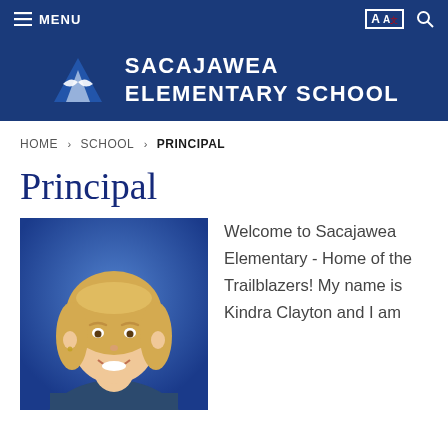≡ MENU   A[translate]   [search]
SACAJAWEA ELEMENTARY SCHOOL
HOME > SCHOOL > PRINCIPAL
Principal
[Figure (photo): Portrait photo of a smiling woman with short blonde hair against a blue background — Kindra Clayton, Principal of Sacajawea Elementary School]
Welcome to Sacajawea Elementary - Home of the Trailblazers! My name is Kindra Clayton and I am